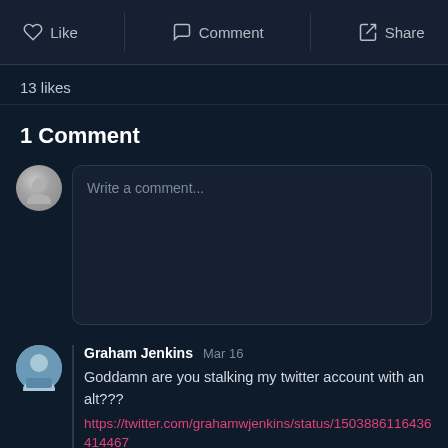[Figure (screenshot): Social media action bar with Like, Comment, and Share buttons]
13 likes
1 Comment
[Figure (screenshot): Comment input box with placeholder text 'Write a comment...' and user avatar]
Graham Jenkins  Mar 16
Goddamn are you stalking my twitter account with an alt???
https://twitter.com/grahamwjenkins/status/1503886116436414467